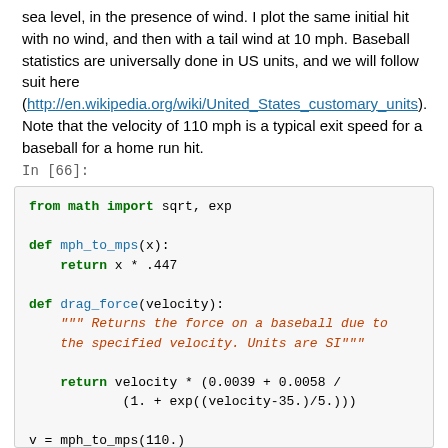sea level, in the presence of wind. I plot the same initial hit with no wind, and then with a tail wind at 10 mph. Baseball statistics are universally done in US units, and we will follow suit here (http://en.wikipedia.org/wiki/United_States_customary_units). Note that the velocity of 110 mph is a typical exit speed for a baseball for a home run hit.
In [66]:
from math import sqrt, exp

def mph_to_mps(x):
    return x * .447

def drag_force(velocity):
    """ Returns the force on a baseball due to the specified velocity. Units are SI"""

    return velocity * (0.0039 + 0.0058 /
            (1. + exp((velocity-35.)/5.)))

v = mph_to_mps(110.)
x, y = 0., 1.
dt = .1
theta = radians(35)